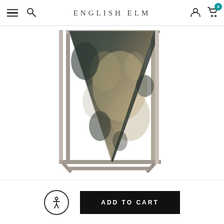ENGLISH ELM
[Figure (photo): A decorative sculptural object featuring a large inverted triangular/pyramid shape made of dark green and tan mottled stone or marble, suspended within a square brushed silver/pewter metal frame. The metal frame rests on a flat surface. The sculpture is photographed on a white background.]
ADD TO CART